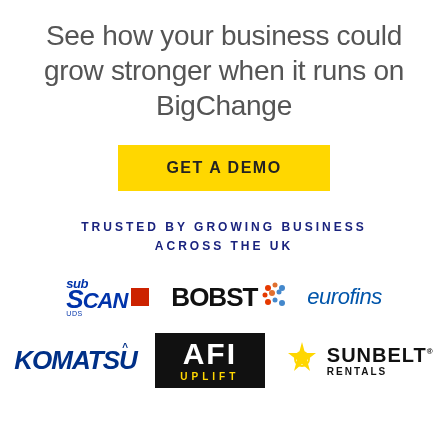See how your business could grow stronger when it runs on BigChange
GET A DEMO
TRUSTED BY GROWING BUSINESS ACROSS THE UK
[Figure (logo): Row of company logos: SubScan UDS, BOBST, eurofins]
[Figure (logo): Row of company logos: Komatsu, AFI Uplift, Sunbelt Rentals]